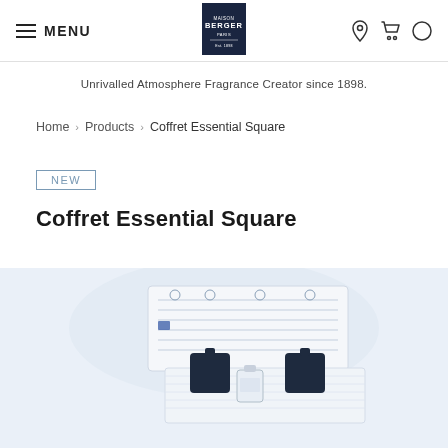MENU | Maison Berger Paris logo | navigation icons
Unrivalled Atmosphere Fragrance Creator since 1898.
Home > Products > Coffret Essential Square
NEW
Coffret Essential Square
[Figure (photo): Product photo of Coffret Essential Square gift set showing packaging box with instruction card, two dark square diffuser bottles, and a small glass bottle on a white tray, set against a pale blue-grey background.]